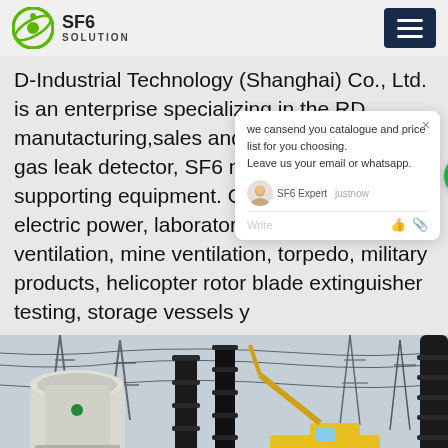SF6 SOLUTION
D-Industrial Technology (Shanghai) Co., Ltd. is an enterprise specializing in the RD, manutacturing,sales and after-sales of SF6 gas leak detector, SF6 multigas Analyzer, supporting equipment. Our application: electric power, laboratory fume hood ventilation, mine ventilation, torpedo military products, helicopter rotor blade extinguisher testing, storage vessels y
[Figure (screenshot): Chat popup showing message: we cansend you catalogue and price list for you choosing. Leave us your email or whatsapp. SF6 Expert - justnow]
[Figure (photo): Outdoor electrical substation with large SF6 circuit breakers and high-voltage equipment, including a yellow crane truck in the background. Power transmission towers visible.]